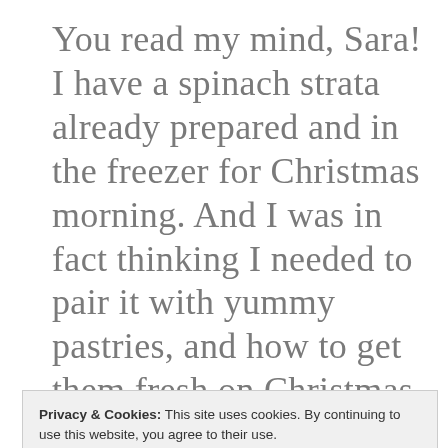You read my mind, Sara! I have a spinach strata already prepared and in the freezer for Christmas morning. And I was in fact thinking I needed to pair it with yummy pastries, and how to get them fresh on Christmas morning? Might have to make those ahead of time too. Are the cinnamon
Privacy & Cookies: This site uses cookies. By continuing to use this website, you agree to their use.
To find out more, including how to control cookies, see here:
Cookie Policy
for making this dish ahead of time for